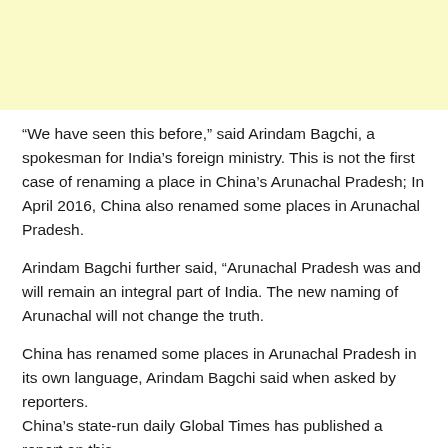[Figure (other): Light yellow advertisement banner at top of page]
“We have seen this before,” said Arindam Bagchi, a spokesman for India’s foreign ministry. This is not the first case of renaming a place in China’s Arunachal Pradesh; In April 2016, China also renamed some places in Arunachal Pradesh.
Arindam Bagchi further said, “Arunachal Pradesh was and will remain an integral part of India. The new naming of Arunachal will not change the truth.
China has renamed some places in Arunachal Pradesh in its own language, Arindam Bagchi said when asked by reporters. China’s state-run daily Global Times has published a report on this. The Chinese Ministry of Civil Affairs announced on Wednesday that it had given standard names to 15 places in Jangnan in Chinese alphabet, Tibetan and Roman alphabets. Jangnan is the Chinese